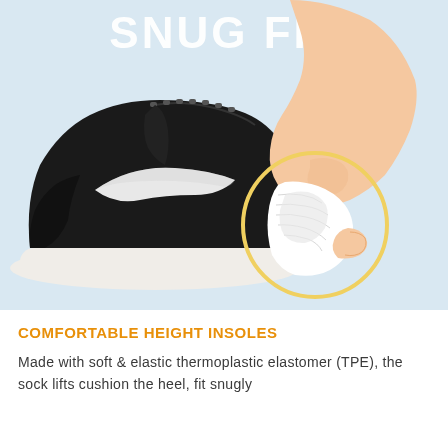[Figure (photo): Product marketing image showing a black Nike sneaker on the left and a person's foot wearing a white heel-grip sock with a circular zoom-in inset showing the heel cushion detail. Light blue background. Text 'SNUG FIT' in large white bold letters at the top.]
COMFORTABLE HEIGHT INSOLES
Made with soft & elastic thermoplastic elastomer (TPE), the sock lifts cushion the heel, fit snugly